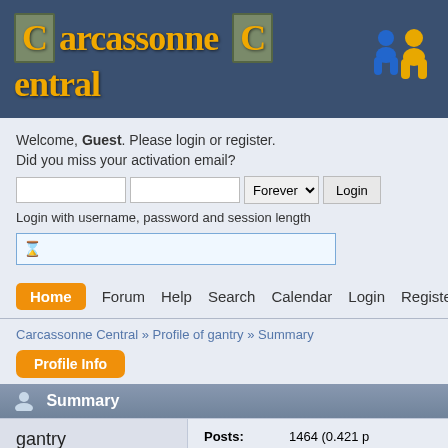Carcassonne Central
Welcome, Guest. Please login or register.
Did you miss your activation email?
Login with username, password and session length
Home  Forum  Help  Search  Calendar  Login  Register
Carcassonne Central » Profile of gantry » Summary
Profile Info
Summary
| User |  | Posts: | 1464 (0.421 p | Merit: | 37 |
| --- | --- | --- | --- | --- | --- |
| gantry | Administrator |  |  |